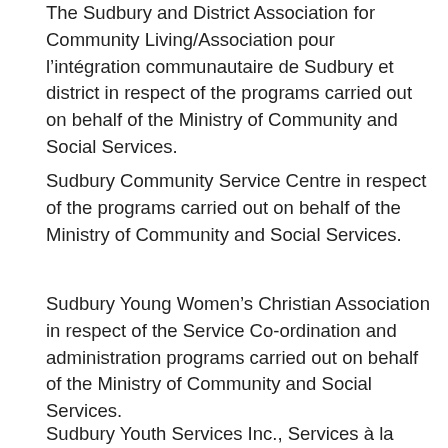The Sudbury and District Association for Community Living/Association pour l’intégration communautaire de Sudbury et district in respect of the programs carried out on behalf of the Ministry of Community and Social Services.
Sudbury Community Service Centre in respect of the programs carried out on behalf of the Ministry of Community and Social Services.
Sudbury Young Women’s Christian Association in respect of the Service Co-ordination and administration programs carried out on behalf of the Ministry of Community and Social Services.
Sudbury Youth Services Inc., Services à la Jeunesse de Sudbury Inc. in respect of the